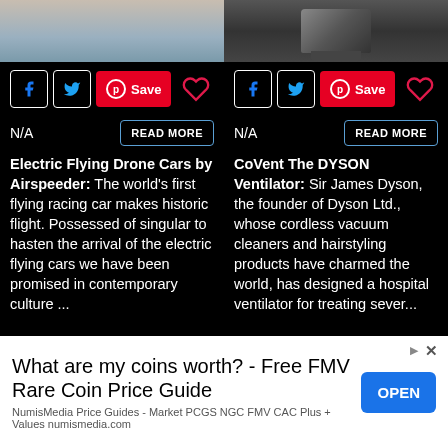[Figure (photo): Top portion of two article cards: left shows an aerial/landscape photo (sky and terrain), right shows a Dyson device product photo on dark background]
N/A
READ MORE
N/A
READ MORE
Electric Flying Drone Cars by Airspeeder: The world's first flying racing car makes historic flight. Possessed of singular to hasten the arrival of the electric flying cars we have been promised in contemporary culture ...
CoVent The DYSON Ventilator: Sir James Dyson, the founder of Dyson Ltd., whose cordless vacuum cleaners and hairstyling products have charmed the world, has designed a hospital ventilator for treating sever...
What are my coins worth? - Free FMV Rare Coin Price Guide
NumisMedia Price Guides - Market PCGS NGC FMV CAC Plus + Values numismedia.com